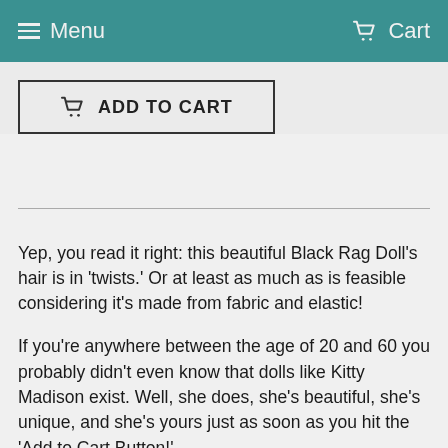Menu   Cart
[Figure (screenshot): Add to Cart button with shopping cart icon and border]
Yep, you read it right: this beautiful Black Rag Doll's hair is in 'twists.' Or at least as much as is feasible considering it's made from fabric and elastic!
If you're anywhere between the age of 20 and 60 you probably didn't even know that dolls like Kitty Madison exist. Well, she does, she's beautiful, she's unique, and she's yours just as soon as you hit the 'Add to Cart Button!'
But before you do, let me tell you a little bit more about why